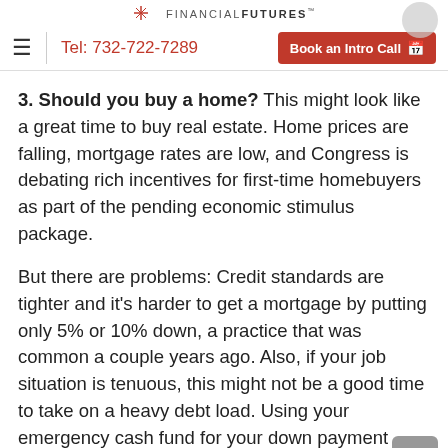FINANCIAL FUTURES | Tel: 732-722-7289 | Book an Intro Call
3. Should you buy a home? This might look like a great time to buy real estate. Home prices are falling, mortgage rates are low, and Congress is debating rich incentives for first-time homebuyers as part of the pending economic stimulus package.
But there are problems: Credit standards are tighter and it’s harder to get a mortgage by putting only 5% or 10% down, a practice that was common a couple years ago. Also, if your job situation is tenuous, this might not be a good time to take on a heavy debt load. Using your emergency cash fund for your down payment defeats the purpose of such funds. Plus,